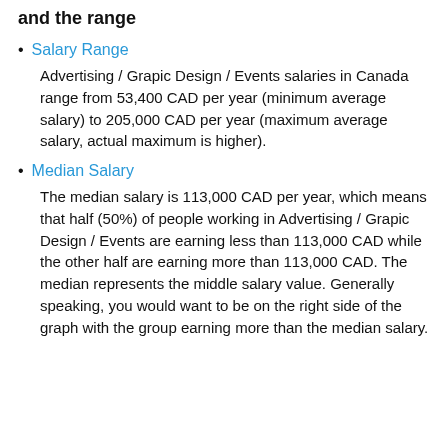and the range
Salary Range
Advertising / Grapic Design / Events salaries in Canada range from 53,400 CAD per year (minimum average salary) to 205,000 CAD per year (maximum average salary, actual maximum is higher).
Median Salary
The median salary is 113,000 CAD per year, which means that half (50%) of people working in Advertising / Grapic Design / Events are earning less than 113,000 CAD while the other half are earning more than 113,000 CAD. The median represents the middle salary value. Generally speaking, you would want to be on the right side of the graph with the group earning more than the median salary.